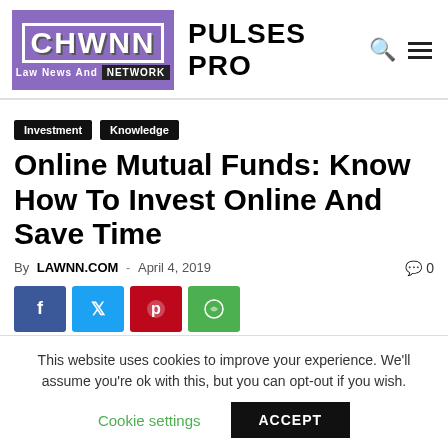[Figure (logo): LAWNN (Law News And Network) logo in purple with site name PULSES PRO]
Investment  Knowledge
Online Mutual Funds: Know How To Invest Online And Save Time
By LAWNN.COM - April 4, 2019  💬 0
[Figure (other): Social share buttons: Facebook, Twitter, Pinterest, WhatsApp]
This website uses cookies to improve your experience. We'll assume you're ok with this, but you can opt-out if you wish.
Cookie settings  ACCEPT